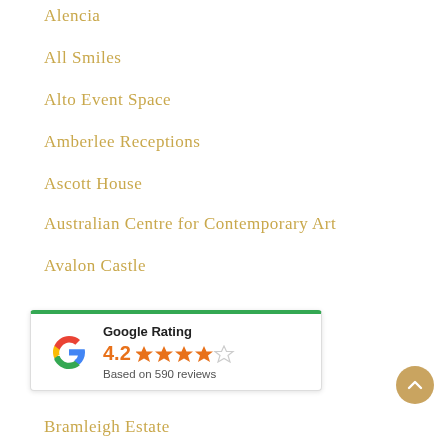Alencia
All Smiles
Alto Event Space
Amberlee Receptions
Ascott House
Australian Centre for Contemporary Art
Avalon Castle
Balgownie Estate Vineyard Resort & Spa
Ballara Receptions
[Figure (other): Google Rating widget showing 4.2 stars based on 590 reviews, with Google G logo and green top border]
Bramleigh Estate